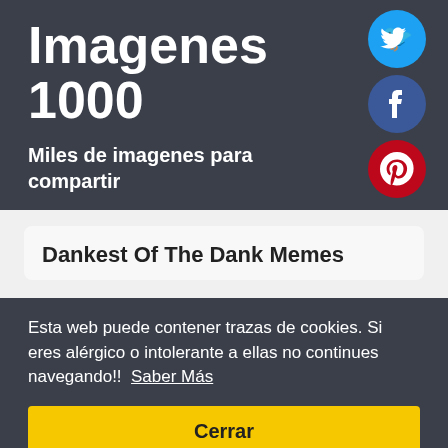Imagenes 1000
Miles de imagenes para compartir
[Figure (illustration): Three social media circular icon buttons: Twitter (cyan/blue), Facebook (dark blue), Pinterest (red)]
Dankest Of The Dank Memes
Esta web puede contener trazas de cookies. Si eres alérgico o intolerante a ellas no continues navegando!!  Saber Más
Cerrar